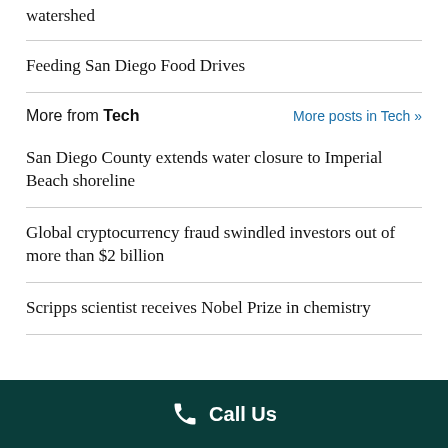watershed
Feeding San Diego Food Drives
More from Tech  More posts in Tech »
San Diego County extends water closure to Imperial Beach shoreline
Global cryptocurrency fraud swindled investors out of more than $2 billion
Scripps scientist receives Nobel Prize in chemistry
Call Us